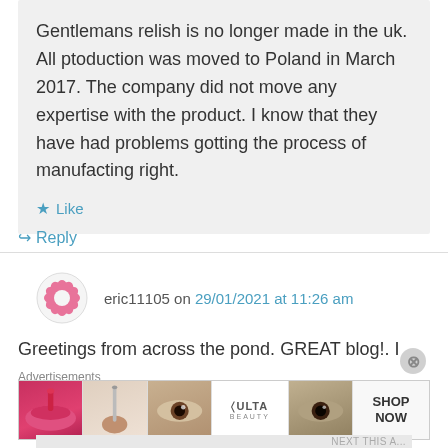Gentlemans relish is no longer made in the uk. All ptoduction was moved to Poland in March 2017. The company did not move any expertise with the product. I know that they have had problems gotting the process of manufacting right.
★ Like
↳ Reply
eric11105 on 29/01/2021 at 11:26 am
Greetings from across the pond. GREAT blog!. I
Advertisements
[Figure (photo): ULTA beauty advertisement banner with makeup imagery and 'SHOP NOW' text]